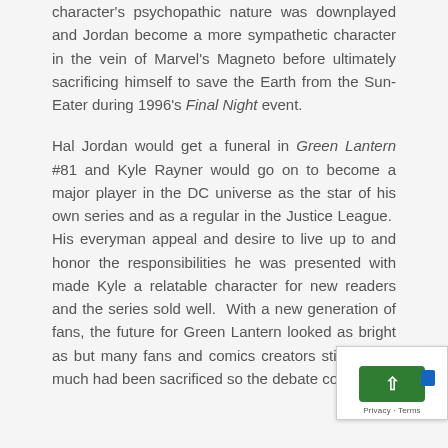character's psychopathic nature was downplayed and Jordan become a more sympathetic character in the vein of Marvel's Magneto before ultimately sacrificing himself to save the Earth from the Sun-Eater during 1996's Final Night event.
Hal Jordan would get a funeral in Green Lantern #81 and Kyle Rayner would go on to become a major player in the DC universe as the star of his own series and as a regular in the Justice League. His everyman appeal and desire to live up to and honor the responsibilities he was presented with made Kyle a relatable character for new readers and the series sold well. With a new generation of fans, the future for Green Lantern looked as bright as [but many fans and comics creators still felt tha[t much had been sacrificed so the debate continued